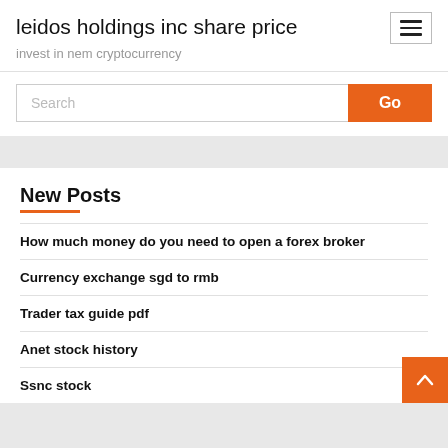leidos holdings inc share price
invest in nem cryptocurrency
Search
New Posts
How much money do you need to open a forex broker
Currency exchange sgd to rmb
Trader tax guide pdf
Anet stock history
Ssnc stock